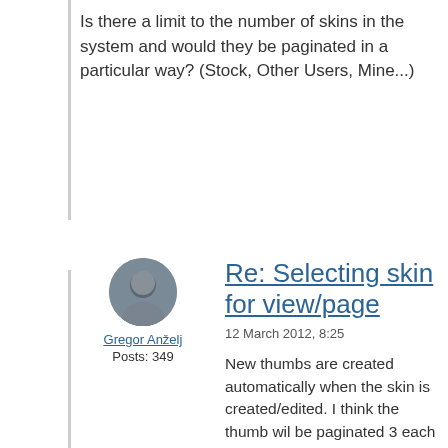Is there a limit to the number of skins in the system and would they be paginated in a particular way? (Stock, Other Users, Mine...)
[Figure (photo): Avatar photo of Gregor Anželj, a middle-aged man with short dark hair]
Gregor Anželj
Posts: 349
Re: Selecting skin for view/page
12 March 2012, 8:25
New thumbs are created automatically when the skin is created/edited. I think the thumb wil be paginated 3 each row and in 3 rows (9 per page totally).
User will be able to choose to display:
his/her skins
other users/ public skins (user can set the skin to be private or